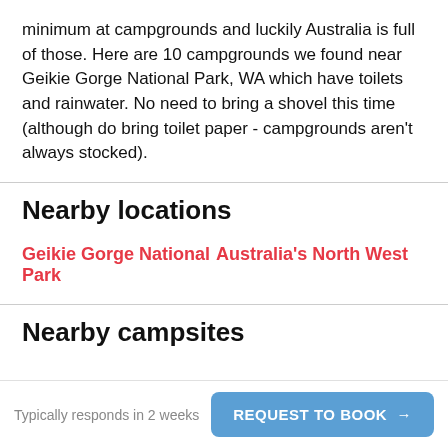minimum at campgrounds and luckily Australia is full of those. Here are 10 campgrounds we found near Geikie Gorge National Park, WA which have toilets and rainwater. No need to bring a shovel this time (although do bring toilet paper - campgrounds aren't always stocked).
Nearby locations
Geikie Gorge National Park
Australia's North West
Nearby campsites
Typically responds in 2 weeks
REQUEST TO BOOK →